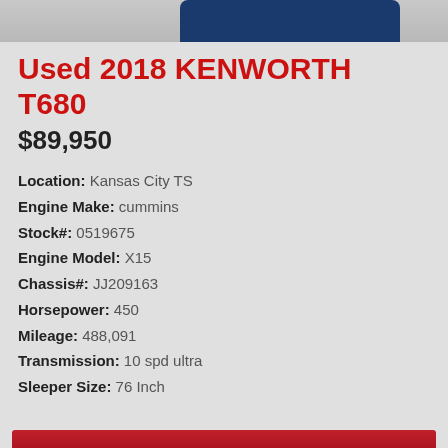[Figure (photo): Partial photo of a Kenworth T680 truck, showing the top portion with blue cab]
Used 2018 KENWORTH T680
$89,950
Location: Kansas City TS
Engine Make: cummins
Stock#: 0519675
Engine Model: X15
Chassis#: JJ209163
Horsepower: 450
Mileage: 488,091
Transmission: 10 spd ultra
Sleeper Size: 76 Inch
VIEW DETAILS
SAVE TRUCK